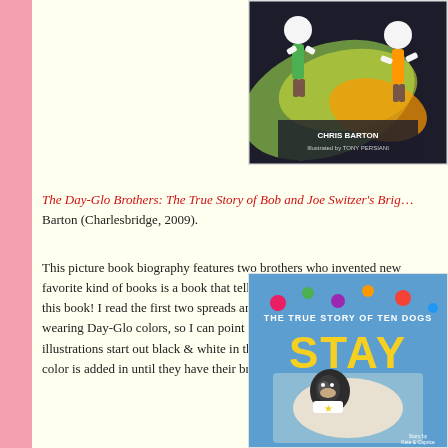[Figure (illustration): Book cover of 'The Day-Glo Brothers' showing cartoon characters with bright colors on a dark background, with author name Chris Barton and illustrator Tony Persiani]
The Day-Glo Brothers: The True Story of Bob and Joe Switzer's Brig... Barton (Charlesbridge, 2009).
This picture book biography features two brothers who invented new... favorite kind of books is a book that tells me about something I never... this book! I read the first two spreads and talk a little bit about what D... wearing Day-Glo colors, so I can point that out. And I show them one... illustrations start out black & white in the beginning and as Bob & Jo... color is added in until they have their breakthrough and I show them t...
[Figure (illustration): Book cover of 'Stay: The True Story of Ten Dogs' showing a dog photo with yellow text 'STAY' on a blue background]